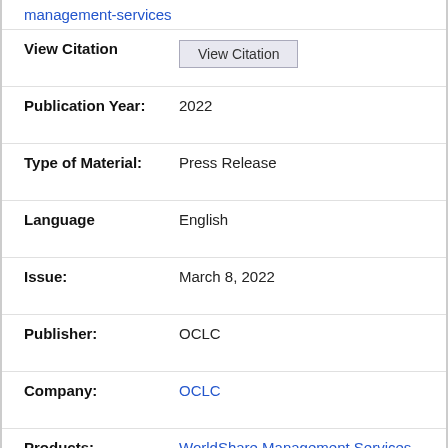management-services
View Citation | View Citation (button)
Publication Year: 2022
Type of Material: Press Release
Language: English
Issue: March 8, 2022
Publisher: OCLC
Company: OCLC
Products: WorldShare Management Services
Libraries: Appalachian College Association
Record Number: 27139